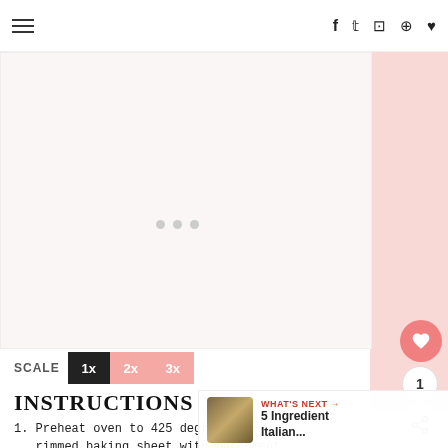≡  f  ✦  ☐  ⊕  ♥
[Figure (photo): Large white/light pink placeholder image area with three dots indicating an image carousel]
SCALE  1x  2x  3x
INSTRUCTIONS
1. Preheat oven to 425 degrees and rimmed baking sheet with parchment paper.
WHAT'S NEXT →  5 Ingredient Italian...